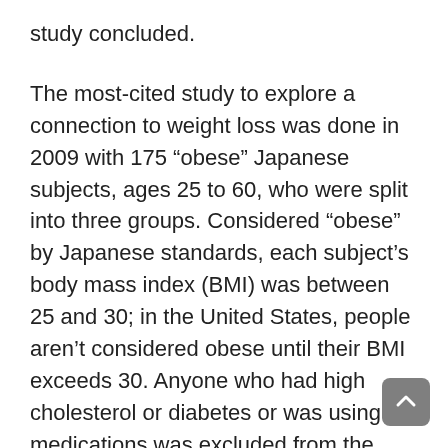study concluded.
The most-cited study to explore a connection to weight loss was done in 2009 with 175 “obese” Japanese subjects, ages 25 to 60, who were split into three groups. Considered “obese” by Japanese standards, each subject’s body mass index (BMI) was between 25 and 30; in the United States, people aren’t considered obese until their BMI exceeds 30. Anyone who had high cholesterol or diabetes or was using medications was excluded from the study.
Over a 12-week period, the groups consumed a beverage each day with either one tablespoon of vinegar, two tablespoons of vinegar or no vinegar